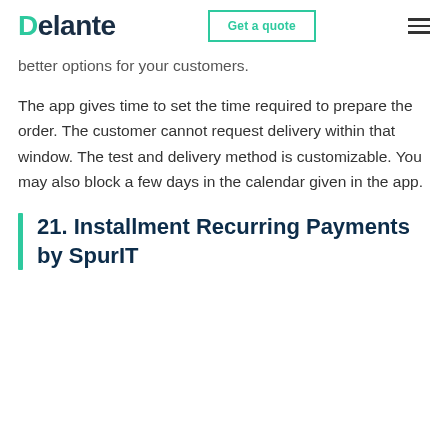Delante | Get a quote
better options for your customers.
The app gives time to set the time required to prepare the order. The customer cannot request delivery within that window. The test and delivery method is customizable. You may also block a few days in the calendar given in the app.
21. Installment Recurring Payments by SpurIT